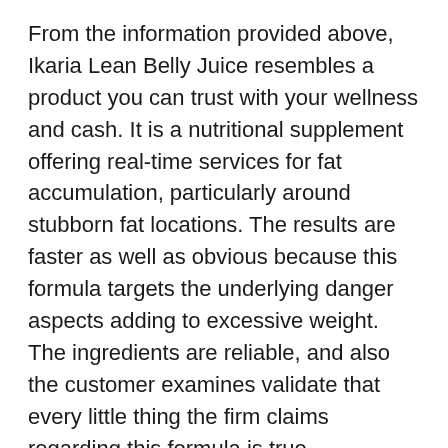From the information provided above, Ikaria Lean Belly Juice resembles a product you can trust with your wellness and cash. It is a nutritional supplement offering real-time services for fat accumulation, particularly around stubborn fat locations. The results are faster as well as obvious because this formula targets the underlying danger aspects adding to excessive weight. The ingredients are reliable, and also the customer examines validate that every little thing the firm claims regarding this formula is true.
Every ingredient inside this formula is examined and confirmed with independent testing, yet the supplement all at once has not been established for a professional trial. Normally, the supplements do not also require a trial due to the fact that they